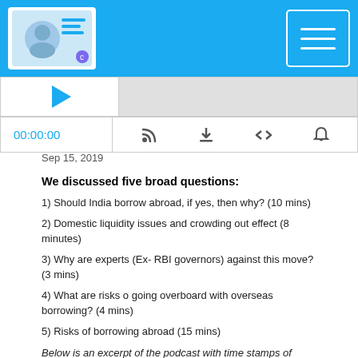[Figure (screenshot): Podcast player header with blue background, logo image on left, hamburger menu icon on right]
[Figure (screenshot): Podcast audio player with thumbnail, waveform bar, time display 00:00:00 and control icons]
Sep 15, 2019
We discussed five broad questions:
1) Should India borrow abroad, if yes, then why? (10 mins)
2) Domestic liquidity issues and crowding out effect (8 minutes)
3) Why are experts (Ex- RBI governors) against this move? (3 mins)
4) What are risks o going overboard with overseas borrowing? (4 mins)
5) Risks of borrowing abroad (15 mins)
Below is an excerpt of the podcast with time stamps of important sections!